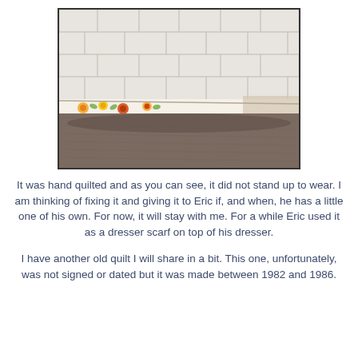[Figure (photo): Close-up photograph of a hand-quilted quilt edge showing white quilted fabric on top with floral (orange and yellow flowers) binding along the edge, resting on a brown/grey carpet.]
It was hand quilted and as you can see, it did not stand up to wear. I am thinking of fixing it and giving it to Eric if, and when, he has a little one of his own. For now, it will stay with me. For a while Eric used it as a dresser scarf on top of his dresser.
I have another old quilt I will share in a bit. This one, unfortunately, was not signed or dated but it was made between 1982 and 1986.